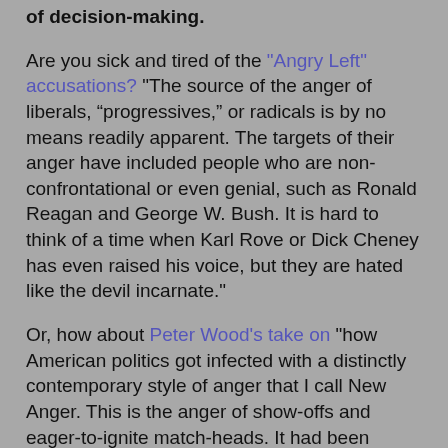of decision-making.
Are you sick and tired of the "Angry Left" accusations? "The source of the anger of liberals, “progressives,” or radicals is by no means readily apparent. The targets of their anger have included people who are non-confrontational or even genial, such as Ronald Reagan and George W. Bush. It is hard to think of a time when Karl Rove or Dick Cheney has even raised his voice, but they are hated like the devil incarnate."
Or, how about Peter Wood's take on "how American politics got infected with a distinctly contemporary style of anger that I call New Anger. This is the anger of show-offs and eager-to-ignite match-heads. It had been gaining ground in American culture for decades before arriving in mainstream politics. When it did arrive in politics, New Anger found homes on both the Left (e.g. Howard Dean) and Right (e.g. Ann Coulter), but the Left provided much more commodious quarters."